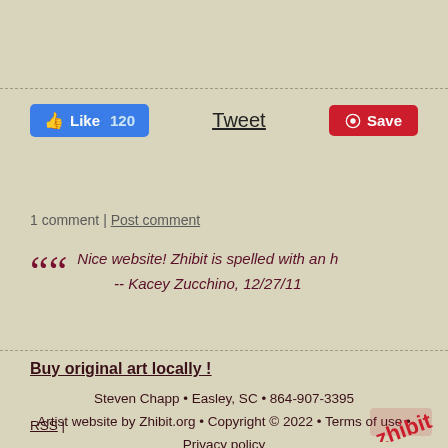[Figure (infographic): Social sharing buttons row: Facebook Like 120, Tweet, Pinterest Save]
1 comment | Post comment
““ Nice website! Zhibit is spelled with an h -- Kacey Zucchino, 12/27/11
Buy original art locally !
Steven Chapp • Easley, SC • 864-907-3395
Artist website by Zhibit.org • Copyright © 2022 • Terms of use • Privacy policy
RSS |
[Figure (logo): Zhibit logo in bottom right corner]